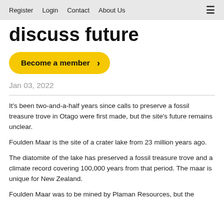Register   Login   Contact   About Us
discuss future
Become a member
Jan 03, 2022
It's been two-and-a-half years since calls to preserve a fossil treasure trove in Otago were first made, but the site's future remains unclear.
Foulden Maar is the site of a crater lake from 23 million years ago.
The diatomite of the lake has preserved a fossil treasure trove and a climate record covering 100,000 years from that period. The maar is unique for New Zealand.
Foulden Maar was to be mined by Plaman Resources, but the